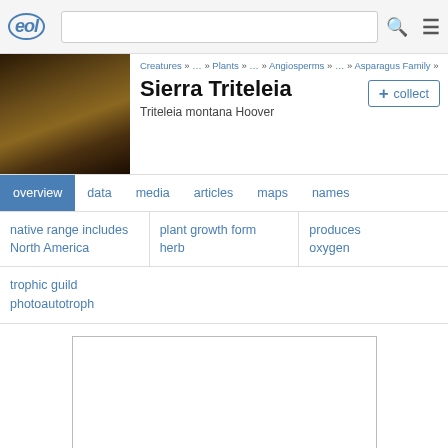EOL | [search bar] | [menu]
Creatures » … » Plants » … » Angiosperms » … » Asparagus Family »
Sierra Triteleia
Triteleia montana Hoover
+ collect
overview  data  media  articles  maps  names
native range includes North America
plant growth form herb
produces oxygen
trophic guild photoautotroph
[Figure (photo): Empty white placeholder image box]